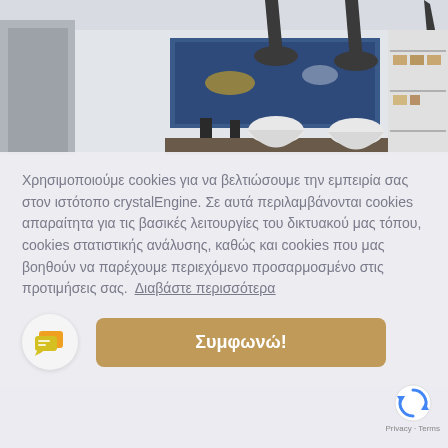[Figure (photo): Modern apartment interior with white pendant lights, artwork on wall, dining area, and shelving unit with decorative items. Sofa visible on right side.]
Χρησιμοποιούμε cookies για να βελτιώσουμε την εμπειρία σας στον ιστότοπο crystalEngine. Σε αυτά περιλαμβάνονται cookies απαραίτητα για τις βασικές λειτουργίες του δικτυακού μας τόπου, cookies στατιστικής ανάλυσης, καθώς και cookies που μας βοηθούν να παρέχουμε περιεχόμενο προσαρμοσμένο στις προτιμήσεις σας.  Διαβάστε περισσότερα
Συμφωνώ!